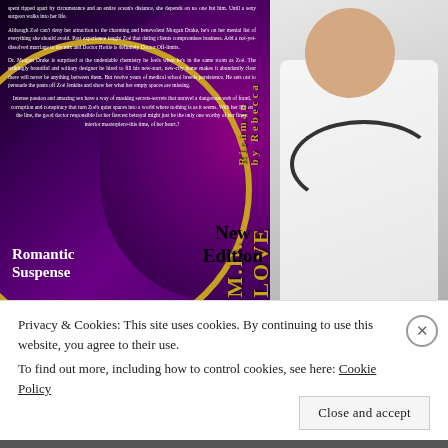[Figure (illustration): Book cover of a romantic suspense novel featuring a dark purple floral background, a doctor in a white coat with stethoscope on the right, gold circular design element on the left, book title spine text, and genre label 'Romantic Suspense' at bottom left with 'New Edition' at bottom right.]
spent ripped apart by circumstance and an entire ocean's distance, she depends on no one but him. Until a sexy surgeon walks into her life.
Although Zoé can't deny her attraction to the charming and benevolent Morgan Drake, he's on her mental list of everything she should avoid. Past experience taught Zoé that dating clients compromises business. Add a not-yet-dissolved marriage to the mix and Doctor Hottie is definitely Doctor Off-limits.
Dr. Morgan Drake is surprised at the undeniable chemistry he feels when he's in the same room as Zoé. The strikingly beautiful and solitary designer he hired to fill his new-start, new-city home makes it abundantly clear there will never be anything between them. But twelve years of medical school breeds persistence. He sets out to persuade the pants off Zoé Jenkins and show her what her empty spaces are missing.
Intense passion and amazing sex have a way of masking secrets-secrets that unravel a dangerous web of fraud, corruption and conspiracy that turn Zoé's quiet spaces into a world where nothing is as it seems. With her life on the line, the good doctor responsible for her fiercest betrayal might just be the only one worthy of her finest interior masterpiece-this time, of her heart.?
Romantic
Suspense
New
Edition
Privacy & Cookies: This site uses cookies. By continuing to use this website, you agree to their use.
To find out more, including how to control cookies, see here: Cookie Policy
Close and accept